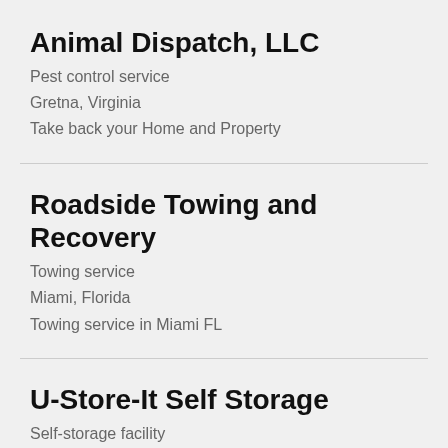Animal Dispatch, LLC
Pest control service
Gretna, Virginia
Take back your Home and Property
Roadside Towing and Recovery
Towing service
Miami, Florida
Towing service in Miami FL
U-Store-It Self Storage
Self-storage facility
Melrose Park, SA